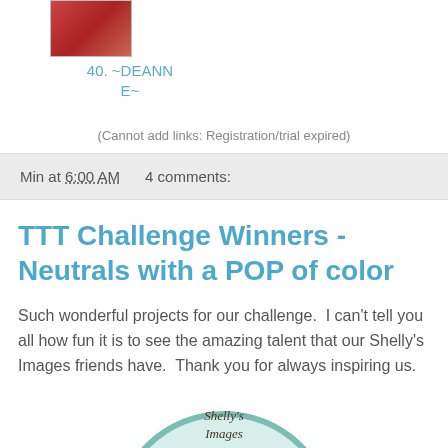[Figure (photo): Small thumbnail photo of person or item]
40. ~DEANNE~
(Cannot add links: Registration/trial expired)
Min at 6:00 AM    4 comments:
TTT Challenge Winners - Neutrals with a POP of color
Such wonderful projects for our challenge.  I can't tell you all how fun it is to see the amazing talent that our Shelly's Images friends have.  Thank you for always inspiring us.
[Figure (logo): Shelly's Images logo with a teddy bear illustration and teal circular border]